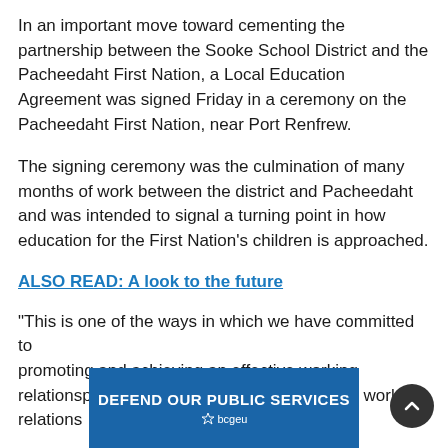In an important move toward cementing the partnership between the Sooke School District and the Pacheedaht First Nation, a Local Education Agreement was signed Friday in a ceremony on the Pacheedaht First Nation, near Port Renfrew.
The signing ceremony was the culmination of many months of work between the district and Pacheedaht and was intended to signal a turning point in how education for the First Nation's children is approached.
ALSO READ: A look to the future
“This is one of the ways in which we have committed to promoting and achieving an effective working relationship
[Figure (other): Blue advertisement banner for BCGEU reading DEFEND OUR PUBLIC SERVICES with bcgeu logo]